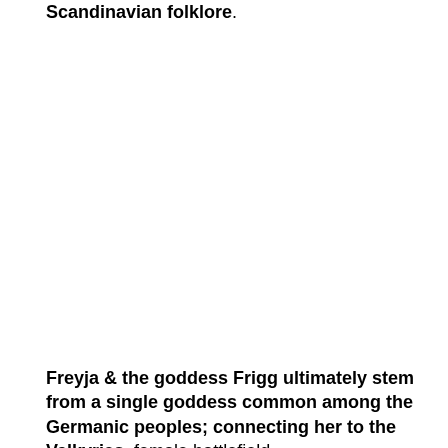Scandinavian folklore.
Freyja & the goddess Frigg ultimately stem from a single goddess common among the Germanic peoples; connecting her to the Valkyries, female battlefield